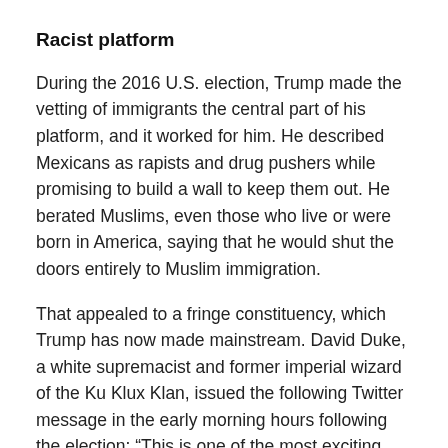Racist platform
During the 2016 U.S. election, Trump made the vetting of immigrants the central part of his platform, and it worked for him. He described Mexicans as rapists and drug pushers while promising to build a wall to keep them out. He berated Muslims, even those who live or were born in America, saying that he would shut the doors entirely to Muslim immigration.
That appealed to a fringe constituency, which Trump has now made mainstream. David Duke, a white supremacist and former imperial wizard of the Ku Klux Klan, issued the following Twitter message in the early morning hours following the election: “This is one of the most exciting nights of my life. Make no mistake about it, our people have